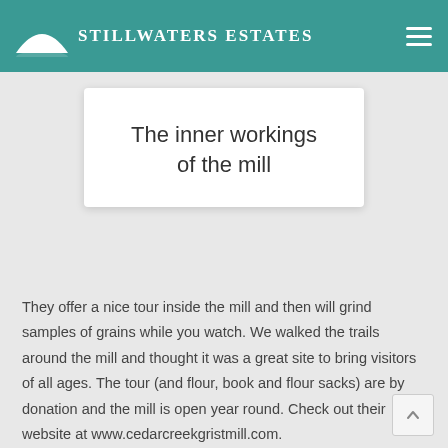STILLWATERS ESTATES
The inner workings of the mill
They offer a nice tour inside the mill and then will grind samples of grains while you watch. We walked the trails around the mill and thought it was a great site to bring visitors of all ages. The tour (and flour, book and flour sacks) are by donation and the mill is open year round. Check out their website at www.cedarcreekgristmill.com.